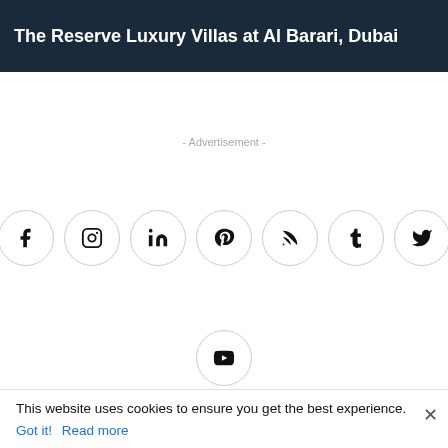The Reserve Luxury Villas at Al Barari, Dubai
- Advertisement -
[Figure (infographic): Row of 7 social media icon circles: Facebook, Instagram, LinkedIn, Pinterest, RSS, Tumblr, Twitter; plus a second row with YouTube icon circle]
Contact us   Advertising   Submit a project   Terms of Use   Privacy Policy   Copyright notice   About us   Sitemap   Yearbook   Filmfoods
This website uses cookies to ensure you get the best experience.
Got it!   Read more